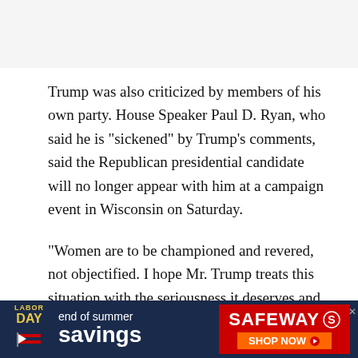Trump was also criticized by members of his own party. House Speaker Paul D. Ryan, who said he is “sickened” by Trump’s comments, said the Republican presidential candidate will no longer appear with him at a campaign event in Wisconsin on Saturday.
“Women are to be championed and revered, not objectified. I hope Mr. Trump treats this situation with the seriousness it deserves and works to demonstrate to the country that he has greater respect for women than this clip suggests,” Ryan said in a statement.
[Figure (other): Safeway advertisement banner: Labor Day end of summer savings. Red and dark blue background with Safeway logo and Shop Now button.]